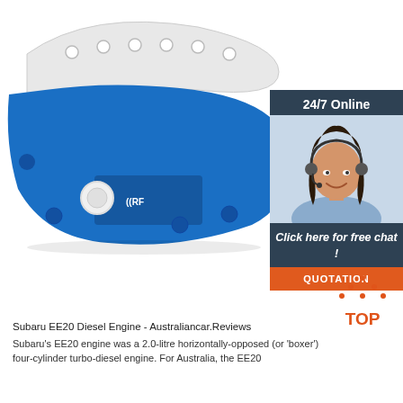[Figure (photo): Blue RFID wristband/bracelet with white snap closure and punched holes along a white strap, labeled with RFID symbol, on white background.]
[Figure (infographic): 24/7 Online chat widget showing a woman with headset smiling, with text 'Click here for free chat!' and an orange QUOTATION button on dark blue-grey background.]
[Figure (illustration): Orange 'TOP' icon with dotted triangle arrow pointing up, indicating scroll to top.]
Subaru EE20 Diesel Engine - Australiancar.Reviews
Subaru's EE20 engine was a 2.0-litre horizontally-opposed (or 'boxer') four-cylinder turbo-diesel engine. For Australia, the EE20